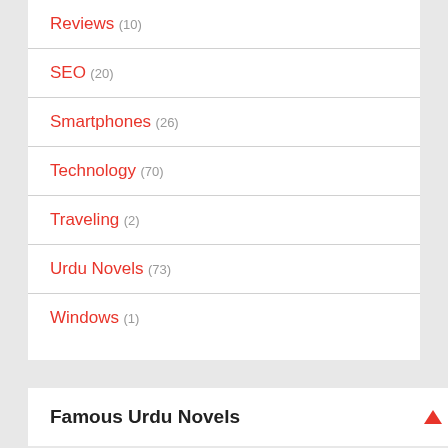Reviews (10)
SEO (20)
Smartphones (26)
Technology (70)
Traveling (2)
Urdu Novels (73)
Windows (1)
Famous Urdu Novels